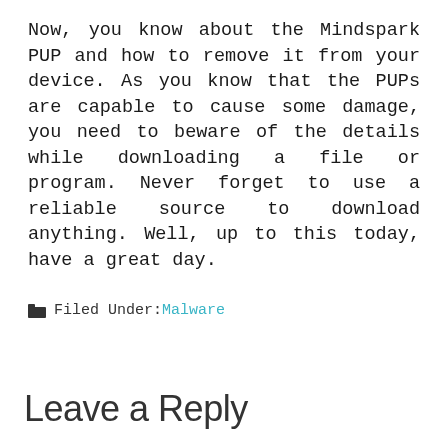Now, you know about the Mindspark PUP and how to remove it from your device. As you know that the PUPs are capable to cause some damage, you need to beware of the details while downloading a file or program. Never forget to use a reliable source to download anything. Well, up to this today, have a great day.
Filed Under: Malware
Leave a Reply